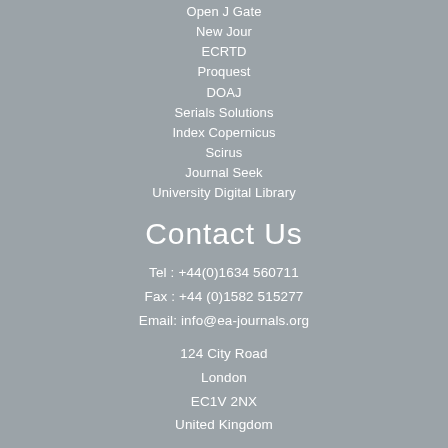Open J Gate
New Jour
ECRTD
Proquest
DOAJ
Serials Solutions
Index Copernicus
Scirus
Journal Seek
University Digital Library
Contact Us
Tel : +44(0)1634 560711
Fax : +44 (0)1582 515277
Email: info@ea-journals.org
124 City Road
London
EC1V 2NX
United Kingdom
Copyright © 2021 EA Journals - Terms & Conditions
Website Developed by Vicon Solutions
View Full Site